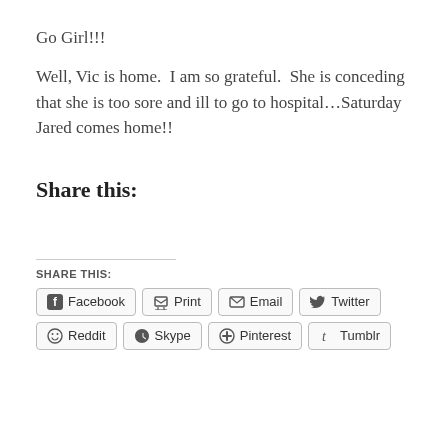Go Girl!!!
Well, Vic is home.  I am so grateful.  She is conceding that she is too sore and ill to go to hospital…Saturday Jared comes home!!
Share this:
SHARE THIS:
Facebook  Print  Email  Twitter  Reddit  Skype  Pinterest  Tumblr